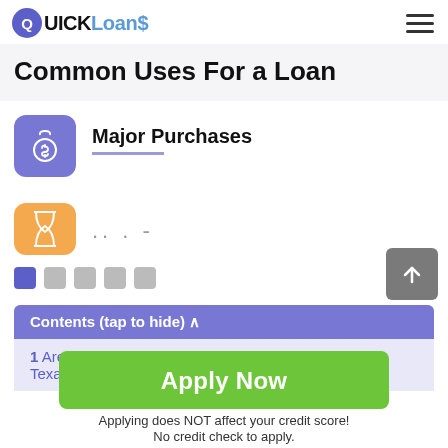QUICK Loans$
Common Uses For a Loan
Major Purchases
[Figure (illustration): Money bag icon in purple rounded square, representing Major Purchases]
[Figure (illustration): Second category icon (hourglass/exchange) in orange rounded square, partially visible]
.. . -
Contents (tap to hide) ∧
Apply Now
Applying does NOT affect your credit score!
No credit check to apply.
1  Are Online Installment Loans Muleshoe in Texas TX Different kinds of Loans?